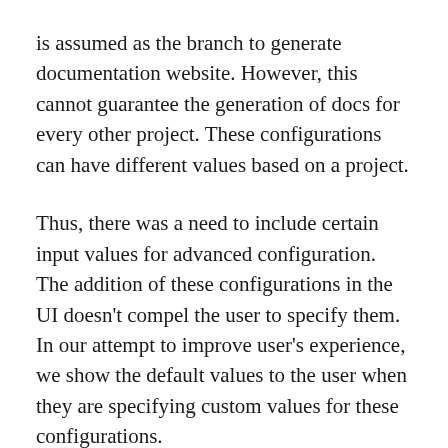is assumed as the branch to generate documentation website. However, this cannot guarantee the generation of docs for every other project. These configurations can have different values based on a project.
Thus, there was a need to include certain input values for advanced configuration. The addition of these configurations in the UI doesn't compel the user to specify them. In our attempt to improve user's experience, we show the default values to the user when they are specifying custom values for these configurations.
If the user doesn't specify a value for the